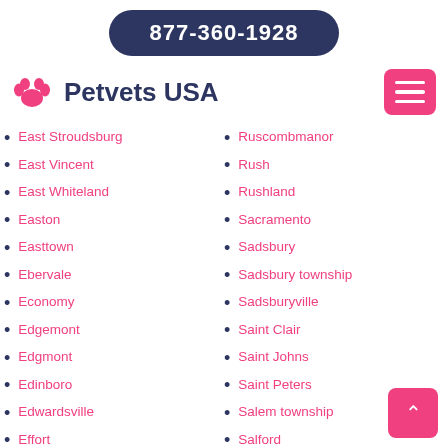877-360-1928
Petvets USA
East Stroudsburg
East Vincent
East Whiteland
Easton
Easttown
Ebervale
Economy
Edgemont
Edgmont
Edinboro
Edwardsville
Effort
Elizabeth township
Ruscombmanor
Rush
Rushland
Sacramento
Sadsbury
Sadsbury township
Sadsburyville
Saint Clair
Saint Johns
Saint Peters
Salem township
Salford
Salfordville